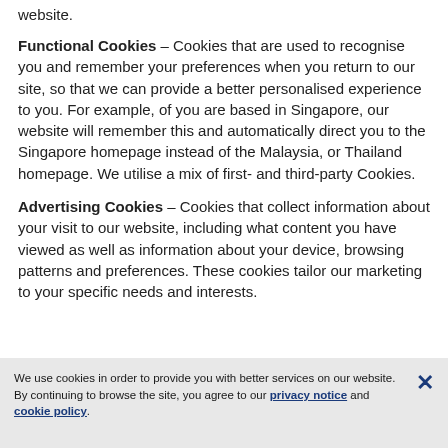website.
Functional Cookies – Cookies that are used to recognise you and remember your preferences when you return to our site, so that we can provide a better personalised experience to you. For example, of you are based in Singapore, our website will remember this and automatically direct you to the Singapore homepage instead of the Malaysia, or Thailand homepage. We utilise a mix of first- and third-party Cookies.
Advertising Cookies – Cookies that collect information about your visit to our website, including what content you have viewed as well as information about your device, browsing patterns and preferences. These cookies tailor our marketing to your specific needs and interests.
We use cookies in order to provide you with better services on our website. By continuing to browse the site, you agree to our privacy notice and cookie policy.